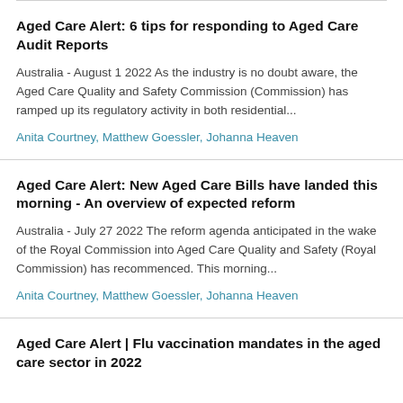Aged Care Alert: 6 tips for responding to Aged Care Audit Reports
Australia - August 1 2022 As the industry is no doubt aware, the Aged Care Quality and Safety Commission (Commission) has ramped up its regulatory activity in both residential...
Anita Courtney, Matthew Goessler, Johanna Heaven
Aged Care Alert: New Aged Care Bills have landed this morning - An overview of expected reform
Australia - July 27 2022 The reform agenda anticipated in the wake of the Royal Commission into Aged Care Quality and Safety (Royal Commission) has recommenced. This morning...
Anita Courtney, Matthew Goessler, Johanna Heaven
Aged Care Alert | Flu vaccination mandates in the aged care sector in 2022